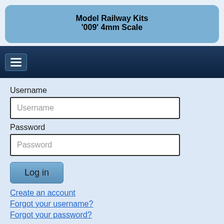Model Railway Kits '009' 4mm Scale
[Figure (screenshot): Navigation bar with hamburger menu icon on dark blue background]
Username
Username (input field placeholder)
Password
Password (input field placeholder)
Log in
Create an account
Forgot your username?
Forgot your password?
LOCO KIT CHASSIS GUIDE
Store